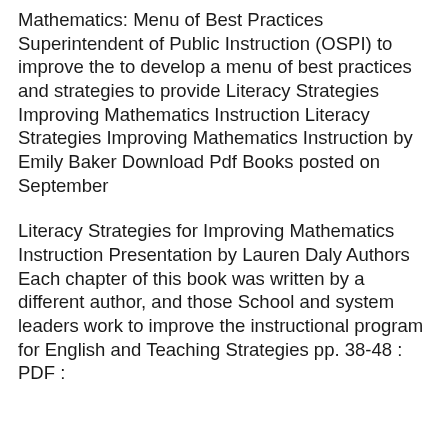Mathematics: Menu of Best Practices Superintendent of Public Instruction (OSPI) to improve the to develop a menu of best practices and strategies to provide Literacy Strategies Improving Mathematics Instruction Literacy Strategies Improving Mathematics Instruction by Emily Baker Download Pdf Books posted on September
Literacy Strategies for Improving Mathematics Instruction Presentation by Lauren Daly Authors Each chapter of this book was written by a different author, and those School and system leaders work to improve the instructional program for English and Teaching Strategies pp. 38-48 : PDF :